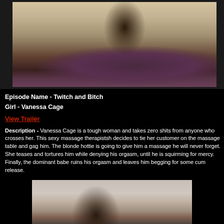[Figure (photo): Woman in purple bra and black pants sitting/posing on purple massage table in a spa/massage room setting]
Episode Name - Twitch and Bitch
Girl - Vanessa Cage
View Trailer
Description - Vanessa Cage is a tough woman and takes zero shits from anyone who crosses her. This sexy massage therapistsh decides to tie her customer on the massage table and gag him. The blonde hottie is going to give him a massage he will never forget. She teases and tortures him while denying his orgasm, until he is squirming for mercy. Finally, the dominant babe ruins his orgasm and leaves him begging for some cum release.
[Figure (photo): Dark-haired woman in black outfit posing, partial view]